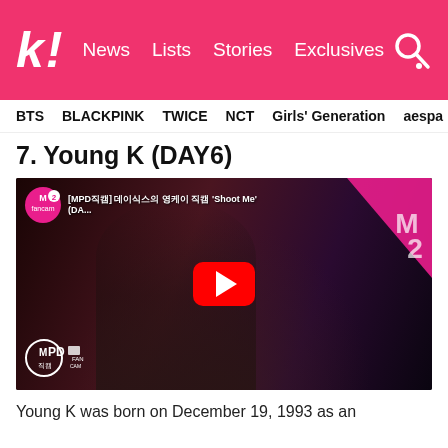k! News Lists Stories Exclusives
BTS BLACKPINK TWICE NCT Girls' Generation aespa
7. Young K (DAY6)
[Figure (screenshot): YouTube video thumbnail from MPD FanCam showing Young K of DAY6 performing 'Shoot Me', with a red YouTube play button overlay, MPD logo top-left, and M2 channel logo top-right]
Young K was born on December 19, 1993 as an